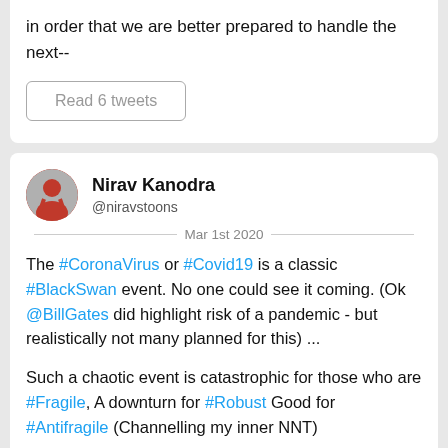in order that we are better prepared to handle the next--
Read 6 tweets
Nirav Kanodra
@niravstoons
Mar 1st 2020
The #CoronaVirus or #Covid19 is a classic #BlackSwan event. No one could see it coming. (Ok @BillGates did highlight risk of a pandemic - but realistically not many planned for this) ...

Such a chaotic event is catastrophic for those who are #Fragile, A downturn for #Robust Good for #Antifragile (Channelling my inner NNT)

What is fragility? As per @nntaleb checklist - too much